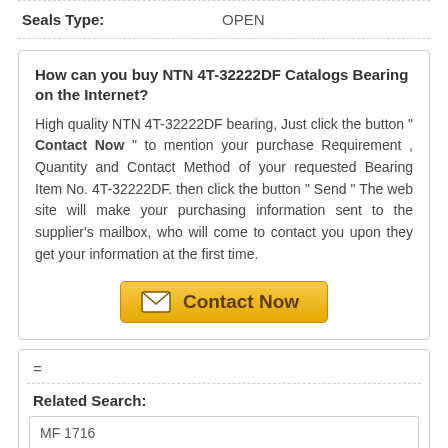Seals Type:   OPEN
How can you buy NTN 4T-32222DF Catalogs Bearing on the Internet?
High quality NTN 4T-32222DF bearing, Just click the button " Contact Now " to mention your purchase Requirement , Quantity and Contact Method of your requested Bearing Item No. 4T-32222DF. then click the button " Send " The web site will make your purchasing information sent to the supplier's mailbox, who will come to contact you upon they get your information at the first time.
[Figure (other): Contact Now button with envelope icon]
=
Related Search:
MF 1716
6204LT